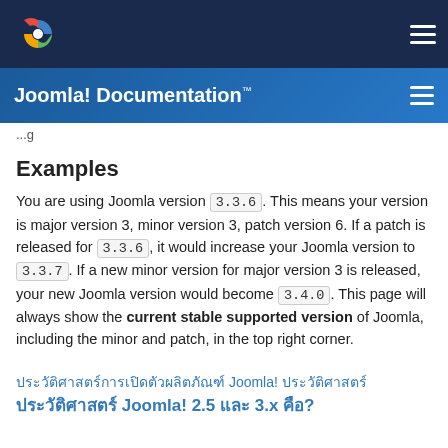Joomla! Documentation™
...g
Examples
You are using Joomla version 3.3.6 . This means your version is major version 3, minor version 3, patch version 6. If a patch is released for 3.3.6 , it would increase your Joomla version to 3.3.7 . If a new minor version for major version 3 is released, your new Joomla version would become 3.4.0 . This page will always show the current stable supported version of Joomla, including the minor and patch, in the top right corner.
ประวัติศาสตร์การเปิดตัว Joomla! 2.5 และ 3.x คือ?